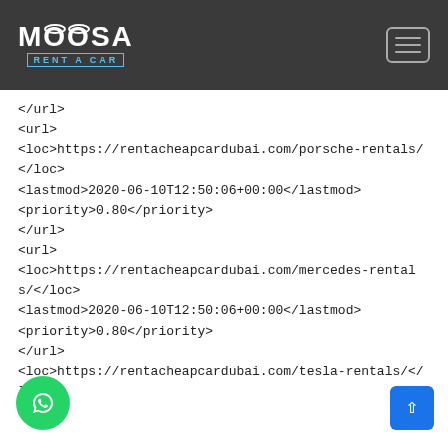[Figure (logo): Moosa Rent A Car logo in white text on dark background with blue subtitle text]
</url>
<url>
<loc>https://rentacheapcardubai.com/porsche-rentals/</loc>
<lastmod>2020-06-10T12:50:06+00:00</lastmod>
<priority>0.80</priority>
</url>
<url>
<loc>https://rentacheapcardubai.com/mercedes-rentals/</loc>
<lastmod>2020-06-10T12:50:06+00:00</lastmod>
<priority>0.80</priority>
</url>
<loc>https://rentacheapcardubai.com/tesla-rentals/</loc>